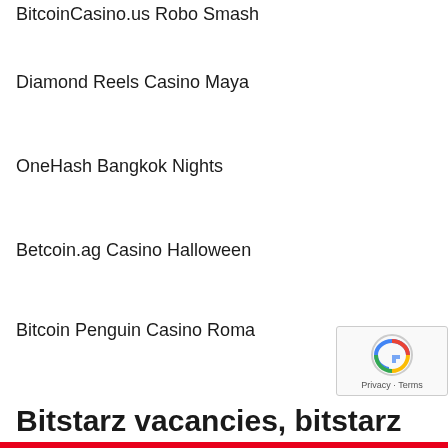BitcoinCasino.us Robo Smash
Diamond Reels Casino Maya
OneHash Bangkok Nights
Betcoin.ag Casino Halloween
Bitcoin Penguin Casino Roma
Bitstarz vacancies, bitstarz